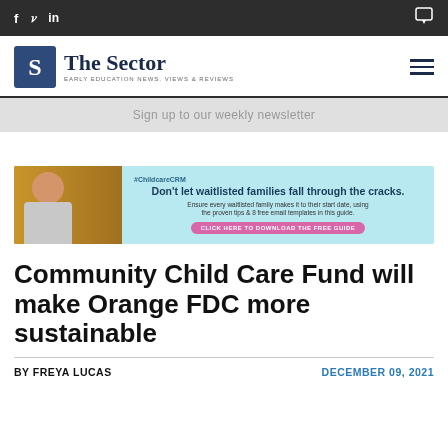f  ✓  in  [comment icon]
[Figure (logo): The Sector logo with S emblem and tagline: EARLY EDUCATION NEWS, VIEWS & REVIEWS]
Sign up to our weekly newsletter
[Figure (infographic): ChildcareCRM advertisement banner: Don't let waitlisted families fall through the cracks. Ensure every waitlisted family makes it to their start date, using the proven tips & 8 free email templates in this guide. CLICK HERE TO DOWNLOAD THE FREE GUIDE]
Community Child Care Fund will make Orange FDC more sustainable
BY FREYA LUCAS
DECEMBER 09, 2021